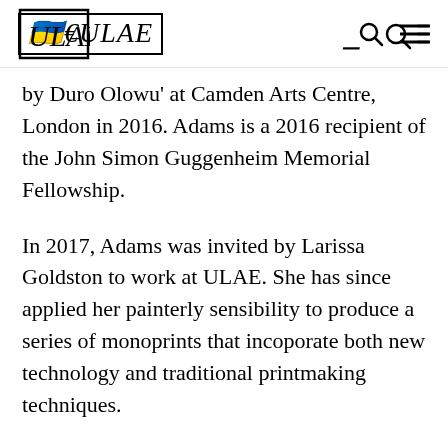ULAE (logo), search icon, menu icon
by Duro Olowu' at Camden Arts Centre, London in 2016. Adams is a 2016 recipient of the John Simon Guggenheim Memorial Fellowship.
In 2017, Adams was invited by Larissa Goldston to work at ULAE. She has since applied her painterly sensibility to produce a series of monoprints that incoporate both new technology and traditional printmaking techniques.